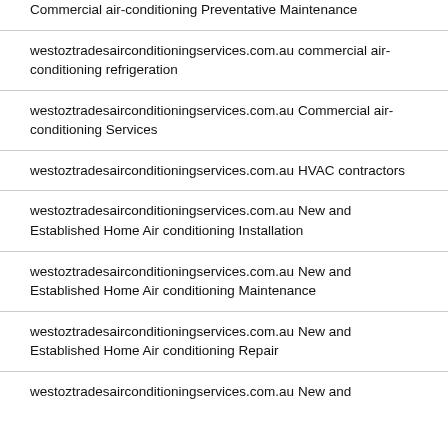Commercial air-conditioning Preventative Maintenance
westoztradesairconditioningservices.com.au commercial air-conditioning refrigeration
westoztradesairconditioningservices.com.au Commercial air-conditioning Services
westoztradesairconditioningservices.com.au HVAC contractors
westoztradesairconditioningservices.com.au New and Established Home Air conditioning Installation
westoztradesairconditioningservices.com.au New and Established Home Air conditioning Maintenance
westoztradesairconditioningservices.com.au New and Established Home Air conditioning Repair
westoztradesairconditioningservices.com.au New and